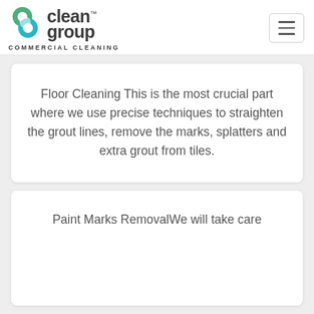[Figure (logo): Clean Group Commercial Cleaning logo with green and teal C icon]
Floor Cleaning This is the most crucial part where we use precise techniques to straighten the grout lines, remove the marks, splatters and extra grout from tiles.
Paint Marks RemovalWe will take care